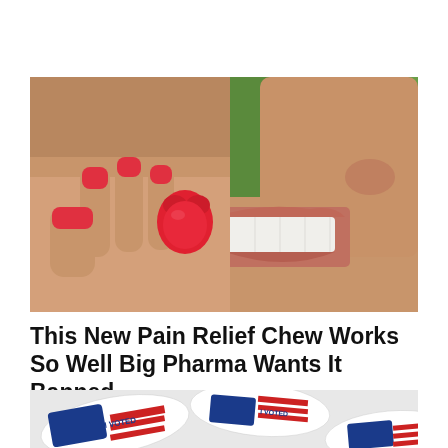[Figure (photo): Close-up photo of a woman with red nail polish putting a red gummy bear candy into her mouth, outdoors with green background]
This New Pain Relief Chew Works So Well Big Pharma Wants It Banned
[Figure (photo): Close-up photo of multiple 'I VOTED' stickers with American flag design, spread on a white surface]